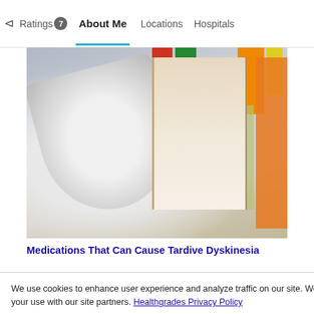Ratings 7  About Me  Locations  Hospitals
[Figure (photo): Close-up photograph of multiple prescription medication bottles arranged together, showing white caps and labeled bottles with colorful caps in background]
Medications That Can Cause Tardive Dyskinesia
We use cookies to enhance user experience and analyze traffic on our site. We also share information about your use with our site partners. Healthgrades Privacy Policy
Continue
Access my Privacy Preferences